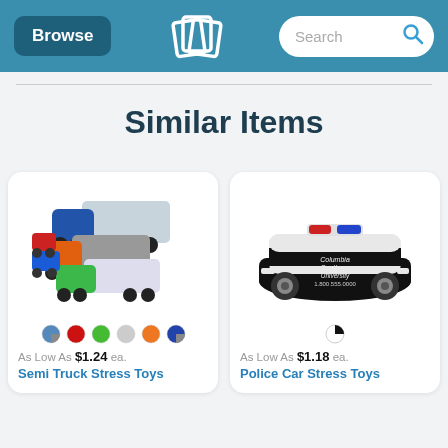Browse | QLP Logo | Search
Similar Items
[Figure (photo): Semi truck stress toys in multiple colors (blue, red, orange, green, grey) stacked together]
[Figure (photo): Police car stress toy in black and white with red and blue lights, branded with Columbia Southern University]
As Low As $1.24 ea.
Semi Truck Stress Toys
As Low As $1.18 ea.
Police Car Stress Toys